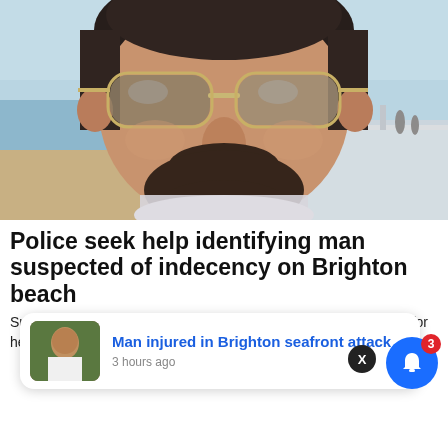[Figure (photo): Close-up blurred photo of a man wearing sunglasses with a beard, at a beach location with sand and sea visible in background]
Police seek help identifying man suspected of indecency on Brighton beach
Sussex Police issued a public appeal today (Monday 22 August) for help to identify a man suspected of indecency on a Brighto...
[Figure (screenshot): Notification card overlay: Man injured in Brighton seafront attack, 3 hours ago, with a thumbnail photo of a man in white t-shirt]